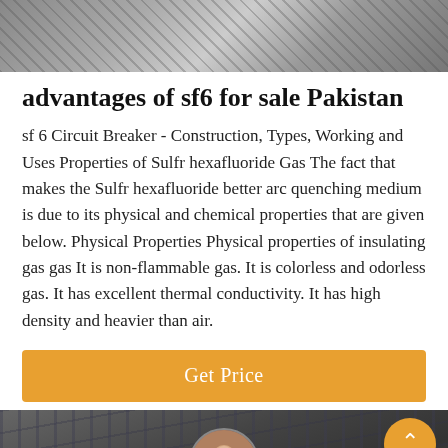[Figure (photo): Top banner image showing industrial/electrical components, dark tones]
advantages of sf6 for sale Pakistan
sf 6 Circuit Breaker - Construction, Types, Working and Uses Properties of Sulfr hexafluoride Gas The fact that makes the Sulfr hexafluoride better arc quenching medium is due to its physical and chemical properties that are given below. Physical Properties Physical properties of insulating gas gas It is non-flammable gas. It is colorless and odorless gas. It has excellent thermal conductivity. It has high density and heavier than air.
[Figure (other): Orange 'Get Price' button]
[Figure (photo): Bottom section with dark industrial background, avatar image of person with headset, orange arrow-up circle button, Leave Message and Chat Online links]